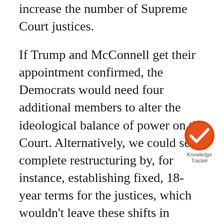increase the number of Supreme Court justices.
If Trump and McConnell get their appointment confirmed, the Democrats would need four additional members to alter the ideological balance of power on the Court. Alternatively, we could see a complete restructuring by, for instance, establishing fixed, 18-year terms for the justices, which wouldn't leave these shifts in power up to the whims of fate. Another option would be establishing more of an appeals court framework, with dozens of potential judges in a pool, from which a handful are chosen to sit on a particular case.
Whatever the format, court reform is now the number one issue in the election, or at least it should be. That means that Joe Biden is going to